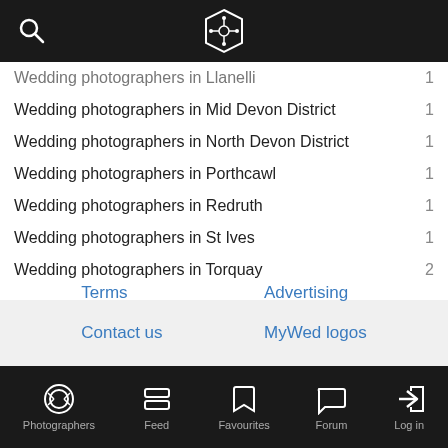MyWed logo and search icon
Wedding photographers in Llanelli 1
Wedding photographers in Mid Devon District 1
Wedding photographers in North Devon District 1
Wedding photographers in Porthcawl 1
Wedding photographers in Redruth 1
Wedding photographers in St Ives 1
Wedding photographers in Torquay 2
Terms | Advertising | Contact us | MyWed logos | About us
Photographers | Feed | Favourites | Forum | Log in